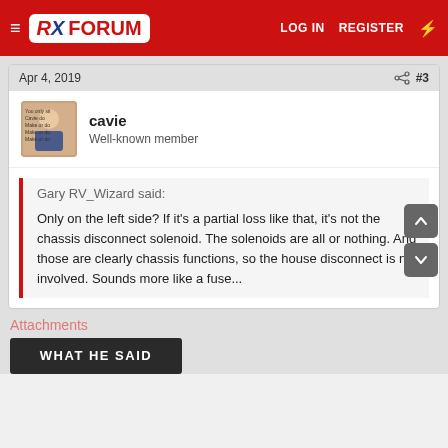RX FORUM — LOG IN   REGISTER
Apr 4, 2019   #3
cavie
Well-known member
Gary RV_Wizard said:
Only on the left side?  If it's a partial loss like that, it's not the chassis disconnect solenoid. The solenoids are all or nothing. And those are clearly chassis functions, so the house disconnect is not involved.  Sounds more like a fuse...
Attachments
[Figure (screenshot): Thumbnail image with text WHAT HE SAID on dark background]